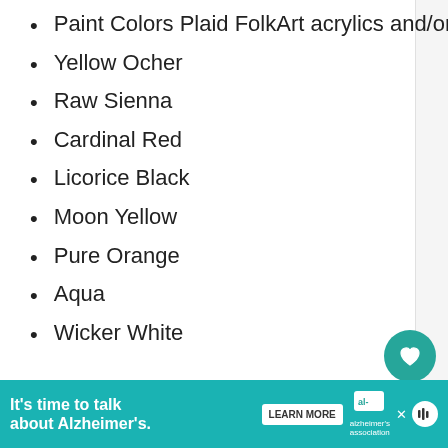Paint Colors Plaid FolkArt acrylics and/or Multi-Surface
Yellow Ocher
Raw Sienna
Cardinal Red
Licorice Black
Moon Yellow
Pure Orange
Aqua
Wicker White
Tools
FolkArt One Stroke Brush set
10/0 Liner or equivalent